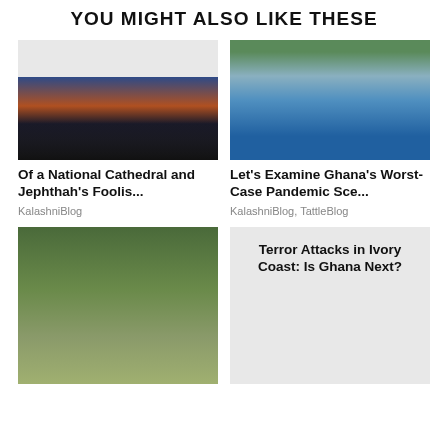YOU MIGHT ALSO LIKE THESE
[Figure (photo): Architectural rendering of a large modern building at night with tall masts, lit with warm tones against a dark blue sky]
[Figure (photo): Healthcare workers in blue protective gear and face shields conducting COVID-19 testing at a drive-through site]
Of a National Cathedral and Jephthah's Foolis...
KalashniBlog
Let's Examine Ghana's Worst-Case Pandemic Sce...
KalashniBlog, TattleBlog
[Figure (photo): Military soldiers in camouflage uniforms and helmets carrying rifles, marching in formation]
[Figure (other): Gray placeholder box with text: Terror Attacks in Ivory Coast: Is Ghana Next?]